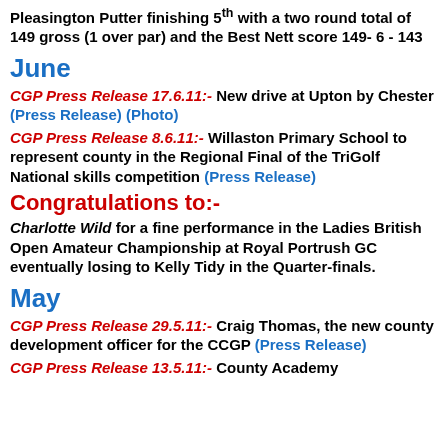Pleasington Putter finishing 5th with a two round total of 149 gross (1 over par) and the Best Nett score 149- 6 - 143
June
CGP Press Release 17.6.11:- New drive at Upton by Chester (Press Release) (Photo)
CGP Press Release 8.6.11:- Willaston Primary School to represent county in the Regional Final of the TriGolf National skills competition (Press Release)
Congratulations to:-
Charlotte Wild for a fine performance in the Ladies British Open Amateur Championship at Royal Portrush GC eventually losing to Kelly Tidy in the Quarter-finals.
May
CGP Press Release 29.5.11:- Craig Thomas, the new county development officer for the CCGP (Press Release)
CGP Press Release 13.5.11:- County Academy